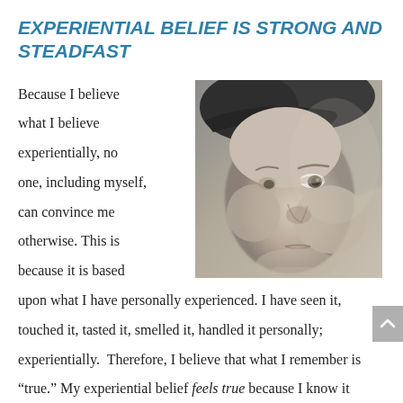EXPERIENTIAL BELIEF IS STRONG AND STEADFAST
[Figure (photo): Black and white close-up portrait of a young child's face in profile, soft focus, thoughtful expression]
Because I believe what I believe experientially, no one, including myself, can convince me otherwise. This is because it is based upon what I have personally experienced. I have seen it, touched it, tasted it, smelled it, handled it personally; experientially. Therefore, I believe that what I remember is “true.” My experiential belief feels true because I know it personally and experientially. Because it is experiential, therefore full...